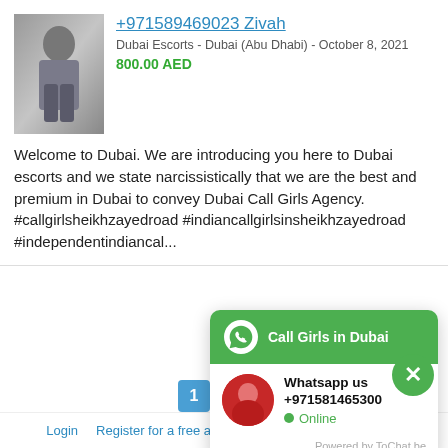[Figure (photo): Thumbnail photo of a woman in jeans standing outdoors]
+971589469023 Zivah
Dubai Escorts - Dubai (Abu Dhabi) - October 8, 2021
800.00 AED
Welcome to Dubai. We are introducing you here to Dubai escorts and we state narcissistically that we are the best and premium in Dubai to convey Dubai Call Girls Agency. #callgirlsheikhzayedroad #indiancallgirlsinsheikhzayedroad #independentindiancal...
[Figure (screenshot): WhatsApp chat widget popup with green header saying 'Call Girls in Dubai', avatar of woman in red, Whatsapp us +971581465300, Online status, Powered by ToChat.be]
Login   Register for a free account   Publish your ad for free